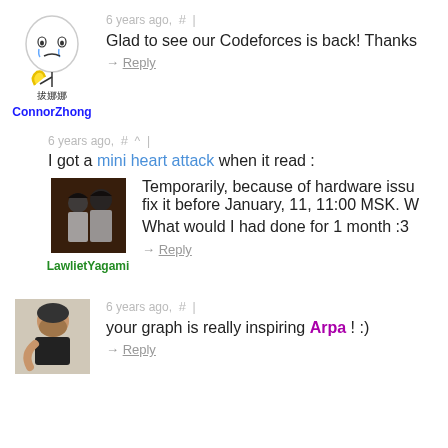[Figure (illustration): Cartoon avatar of a crying character holding a banana, with Chinese text below reading 拔娜娜]
ConnorZhong
6 years ago,  #  |
Glad to see our Codeforces is back! Thanks
→ Reply
6 years ago,  #  ^  |
I got a mini heart attack when it read :
[Figure (photo): Photo of two anime-style characters from behind]
LawlietYagami
Temporarily, because of hardware issu fix it before January, 11, 11:00 MSK. W
What would I had done for 1 month :3
→ Reply
[Figure (photo): Photo of a man sitting]
6 years ago,  #  |
your graph is really inspiring Arpa ! :)
→ Reply